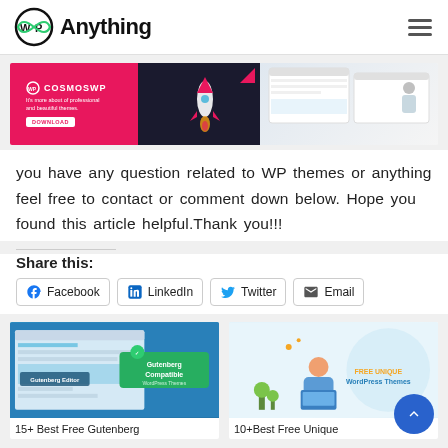WPAnything
[Figure (photo): CosmoswWP banner advertisement with download button, rocket illustration, and website screenshots]
you have any question related to WP themes or anything feel free to contact or comment down below. Hope you found this article helpful.Thank you!!!
Share this:
Facebook  LinkedIn  Twitter  Email
[Figure (screenshot): 15+ Best Free Gutenberg - WordPress Gutenberg Editor compatible theme thumbnail]
[Figure (illustration): 10+ Best Free Unique WordPress Themes thumbnail with person at laptop illustration]
15+ Best Free Gutenberg
10+Best Free Unique